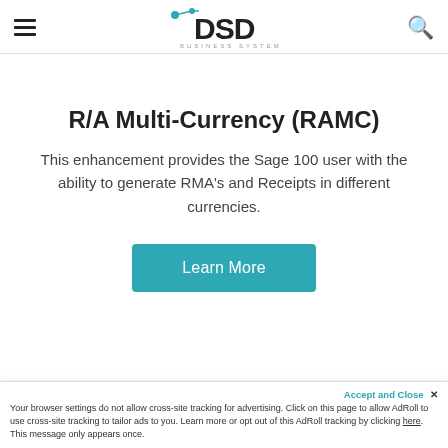DSD BUSINESS SYSTEMS
R/A Multi-Currency (RAMC)
This enhancement provides the Sage 100 user with the ability to generate RMA’s and Receipts in different currencies.
Learn More
Accept and Close ×
Your browser settings do not allow cross-site tracking for advertising. Click on this page to allow AdRoll to use cross-site tracking to tailor ads to you. Learn more or opt out of this AdRoll tracking by clicking here. This message only appears once.